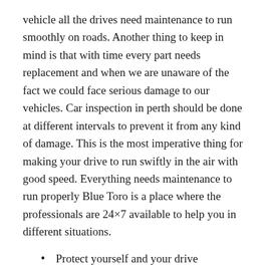vehicle all the drives need maintenance to run smoothly on roads. Another thing to keep in mind is that with time every part needs replacement and when we are unaware of the fact we could face serious damage to our vehicles. Car inspection in perth should be done at different intervals to prevent it from any kind of damage. This is the most imperative thing for making your drive to run swiftly in the air with good speed. Everything needs maintenance to run properly Blue Toro is a place where the professionals are 24×7 available to help you in different situations.
Protect yourself and your drive
Like we all have heard from childhood that safety is the priority. So the use of airbags is to prevent the family from life-threatening serious accidents. If you want to go on any road trip you have to get your vehicle inspection done by an expert who will fix all